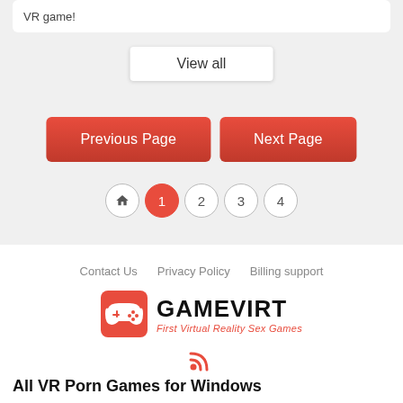VR game!
View all
Previous Page
Next Page
1 2 3 4
Contact Us  Privacy Policy  Billing support
[Figure (logo): GAMEVIRT logo with gamepad icon and tagline 'First Virtual Reality Sex Games']
[Figure (other): RSS feed icon in red/orange]
All VR Porn Games for Windows